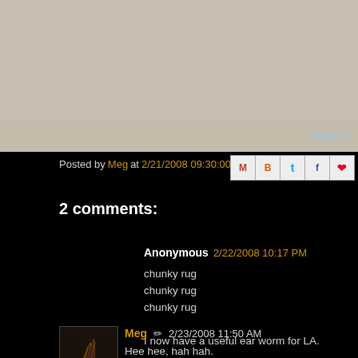[Figure (photo): Beige/tan background image area with copyright text '©Meg N' visible in light blue at bottom right]
Posted by Meg at 2/21/2008 09:30:00 PM
[Figure (other): Share icons row: Gmail (M), Blogger (B), Twitter (t), Facebook (f), Pinterest (P)]
2 comments:
Anonymous  2/22/2008 10:17 PM
chunky rug
chunky rug
chunky rug

I now have a useful ear worm for LA.
Reply
Meg  ✏  2/23/2008 11:50 AM
Hee hee, hah hah.